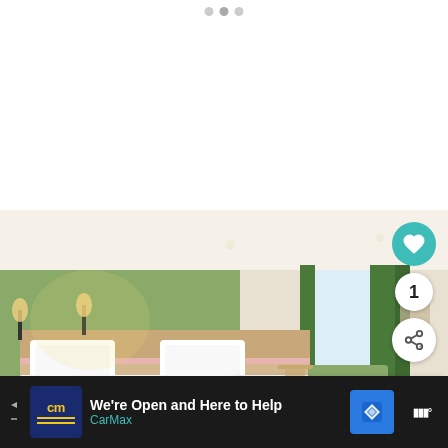[Figure (screenshot): Top portion of a travel website or app showing a white blank area with three pagination dots at the top center]
[Figure (photo): Hotel room photo showing a modern twin bed room with sage green accent wall, wood headboard with pink trim, white bedding, green curtains and a green sofa bench by the window. Wall sconces visible on left side.]
[Figure (other): Teal circular heart/favorite button overlay on the room photo]
1
[Figure (other): White circular share button with share icon]
[Figure (other): WHAT'S NEXT card showing: Where to Stay in Otaru,...]
[Figure (screenshot): Bottom advertisement bar for CarMax: 'We're Open and Here to Help' with CarMax logo in blue box and navigation arrow icon]